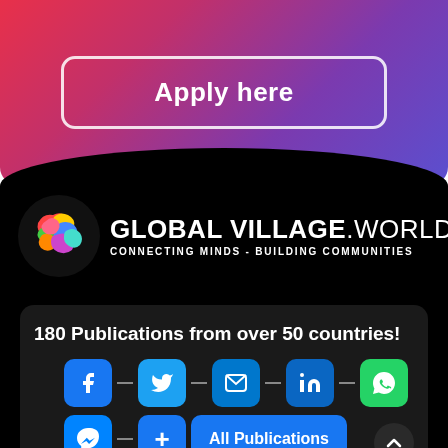[Figure (screenshot): Pink-to-purple gradient banner with 'Apply here' button in white rounded rectangle border]
[Figure (logo): Global Village World logo: colorful globe icon on left, 'GLOBAL VILLAGE.WORLD' in bold white text, subtitle 'CONNECTING MINDS - BUILDING COMMUNITIES']
180 Publications from over 50 countries!
[Figure (screenshot): Social sharing buttons row: Facebook, Twitter, Email, LinkedIn, WhatsApp icons connected by arrows, then Messenger and share-plus 'All Publications' button]